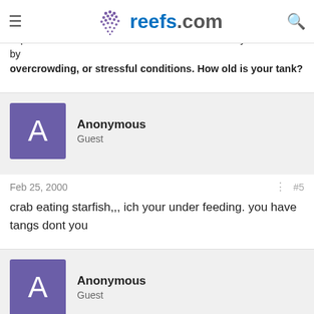reefs.com
of larva from finding host fish and would hopefully cause them to stay in water column long to go through sterilizer. From my experiences ich is very hard to deal with and may be caused by overcrowding, or stressful conditions. How old is your tank?
Anonymous
Guest
Feb 25, 2000  #5
crab eating starfish,,, ich your under feeding. you have tangs dont you
Anonymous
Guest
Feb 25, 2000  #6
Mr. Thomas,
I worked at an aquarium retail store once that used an UV sterilizer on one of it's 110-gallon freshwater systems. After a